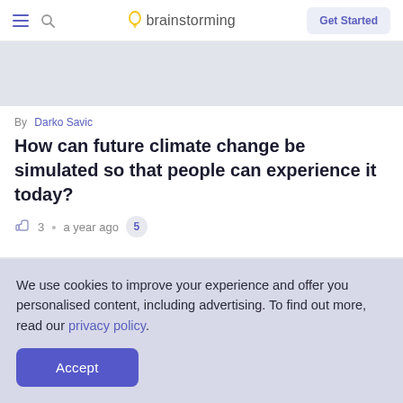brainstorming — Get Started
[Figure (other): Grey hero image placeholder banner]
By Darko Savic
How can future climate change be simulated so that people can experience it today?
👍 3 • a year ago  5
[Figure (other): Grey card placeholder banner]
We use cookies to improve your experience and offer you personalised content, including advertising. To find out more, read our privacy policy.
Accept